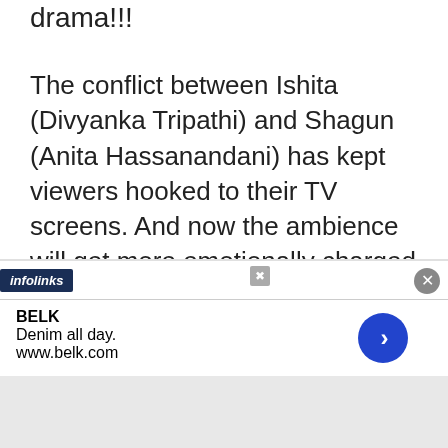drama!!!
The conflict between Ishita (Divyanka Tripathi) and Shagun (Anita Hassanandani) has kept viewers hooked to their TV screens. And now the ambience will get more emotionally charged up in Star Plus’ Yeh Hai Mohabbatein (Balaji Telefilms) with Shagun locking horns with Ishita and dragging her to the court.
BELK
Denim all day.
www.belk.com